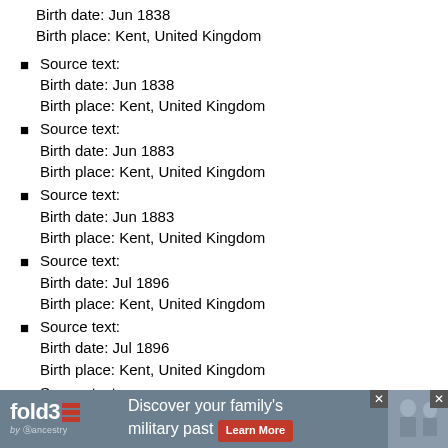Birth date: Jun 1838
Birth place: Kent, United Kingdom
Source text:
Birth date: Jun 1838
Birth place: Kent, United Kingdom
Source text:
Birth date: Jun 1883
Birth place: Kent, United Kingdom
Source text:
Birth date: Jun 1883
Birth place: Kent, United Kingdom
Source text:
Birth date: Jul 1896
Birth place: Kent, United Kingdom
Source text:
Birth date: Jul 1896
Birth place: Kent, United Kingdom
Source text:
Birth date: Jun 1879
Birth place: Kent, United Kingdom
Source text:
Birth date: Jun 1879
[Figure (infographic): fold3 by Ancestry advertisement banner: 'Discover your family's military past' with Learn More button and military photo]